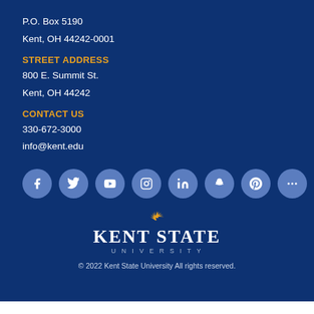P.O. Box 5190
Kent, OH 44242-0001
STREET ADDRESS
800 E. Summit St.
Kent, OH 44242
CONTACT US
330-672-3000
info@kent.edu
[Figure (logo): Row of social media icons: Facebook, Twitter, YouTube, Instagram, LinkedIn, Snapchat, Pinterest, and a more/ellipsis button]
[Figure (logo): Kent State University logo with sunburst icon above text KENT STATE UNIVERSITY]
© 2022 Kent State University All rights reserved.